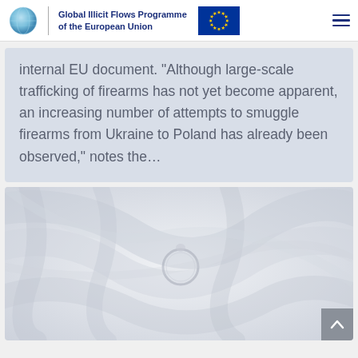Global Illicit Flows Programme of the European Union
internal EU document. “Although large-scale trafficking of firearms has not yet become apparent, an increasing number of attempts to smuggle firearms from Ukraine to Poland has already been observed,” notes the…
[Figure (photo): Close-up photo of a light grey/white fabric or textile with soft folds and a circular metal ring or fastener visible in the center, creating an abstract, muted appearance.]